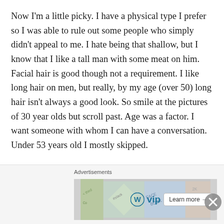Now I'm a little picky. I have a physical type I prefer so I was able to rule out some people who simply didn't appeal to me. I hate being that shallow, but I know that I like a tall man with some meat on him. Facial hair is good though not a requirement. I like long hair on men, but really, by my age (over 50) long hair isn't always a good look. So smile at the pictures of 30 year olds but scroll past. Age was a factor. I want someone with whom I can have a conversation. Under 53 years old I mostly skipped.

Next I am profile picky. Please say something about yourself. Blank profiles don't interest me. Three-word profiles don't say much about you. Now some things say a
[Figure (screenshot): Advertisement bar at the bottom showing 'Advertisements' label and an ad with WordPress VIP logo and 'Learn more →' button, with a close (X) button overlay]